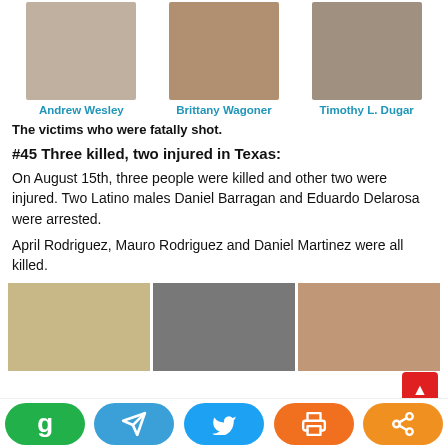[Figure (photo): Three mugshot/portrait photos of Andrew Wesley, Brittany Wagoner, and Timothy L. Dugar]
The victims who were fatally shot.
#45 Three killed, two injured in Texas:
On August 15th, three people were killed and other two were injured. Two Latino males Daniel Barragan and Eduardo Delarosa were arrested.
April Rodriguez, Mauro Rodriguez and Daniel Martinez were all killed.
[Figure (photo): Three photos of the Texas shooting victims at the bottom of the page]